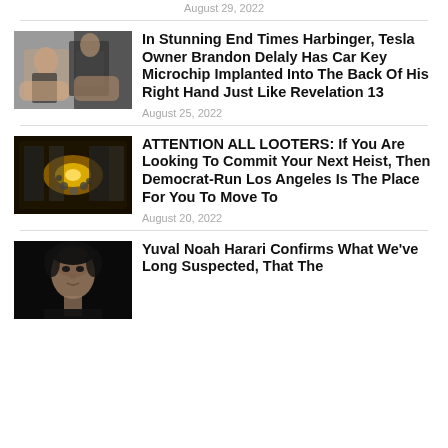August 29, 2022
[Figure (photo): Person receiving hand implant procedure, two people visible near a car door]
In Stunning End Times Harbinger, Tesla Owner Brandon Delaly Has Car Key Microchip Implanted Into The Back Of His Right Hand Just Like Revelation 13
August 25, 2022
[Figure (photo): Overhead view of crowded store interior, appears to be looting scene with bright lights]
ATTENTION ALL LOOTERS: If You Are Looking To Commit Your Next Heist, Then Democrat-Run Los Angeles Is The Place For You To Move To
August 20, 2022
[Figure (photo): Headshot of Yuval Noah Harari, man with dark hair against dark background]
Yuval Noah Harari Confirms What We've Long Suspected, That The